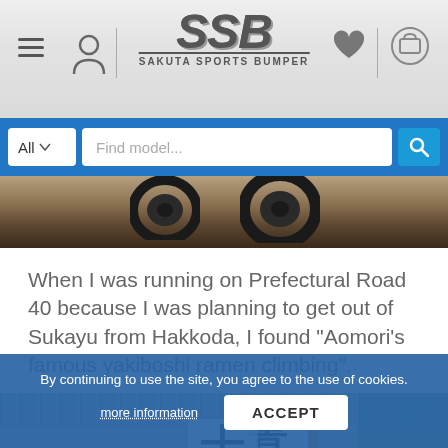[Figure (screenshot): SSB Sakuta Sports Bumper website header with logo, hamburger menu, person icon, heart icon, and cart icon on grey background]
[Figure (screenshot): Blue search bar with All dropdown, Find model... placeholder text input, and blue search button]
[Figure (photo): Motorcycle rear wheel close-up on autumn road with fallen leaves]
When I was running on Prefectural Road 40 because I was planning to get out of Sukayu from Hakkoda, I found "Aomori’s famous yakiboshi ramen climbing".
[Figure (photo): Japanese roadside restaurant with corrugated metal roof, white banner with kanji characters, wooden post, and Coca-Cola sign visible at bottom]
By continuing to use the site, you agree to the use of cookies.
more information
ACCEPT